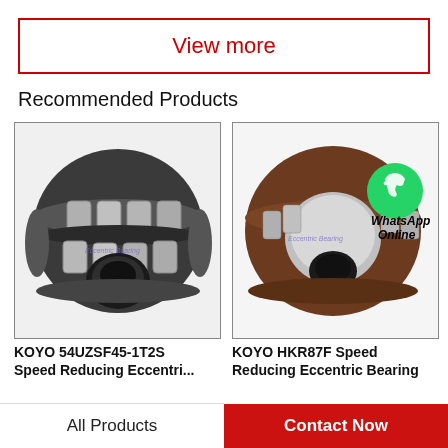View more
Recommended Products
[Figure (photo): KOYO 54UZSF45-1T2S speed reducing eccentric bearing, dark metallic cylindrical roller bearing with multiple roller elements visible]
KOYO 54UZSF45-1T2S Speed Reducing Eccentri...
[Figure (photo): KOYO HKR87F speed reducing eccentric bearing, brown/dark colored bearing with WhatsApp Online overlay icon]
KOYO HKR87F Speed Reducing Eccentric Bearing
All Products
Contact Now